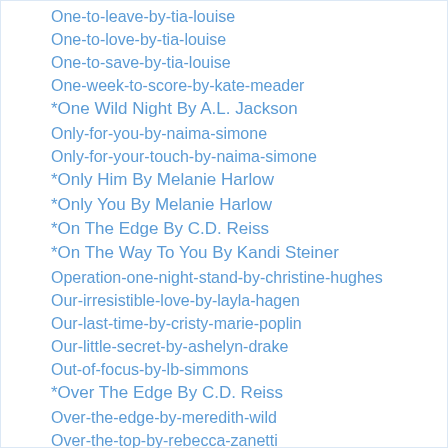One-to-leave-by-tia-louise
One-to-love-by-tia-louise
One-to-save-by-tia-louise
One-week-to-score-by-kate-meader
*One Wild Night By A.L. Jackson
Only-for-you-by-naima-simone
Only-for-your-touch-by-naima-simone
*Only Him By Melanie Harlow
*Only You By Melanie Harlow
*On The Edge By C.D. Reiss
*On The Way To You By Kandi Steiner
Operation-one-night-stand-by-christine-hughes
Our-irresistible-love-by-layla-hagen
Our-last-time-by-cristy-marie-poplin
Our-little-secret-by-ashelyn-drake
Out-of-focus-by-lb-simmons
*Over The Edge By C.D. Reiss
Over-the-edge-by-meredith-wild
Over-the-top-by-rebecca-zanetti
Paid-for-by-alexa-riley
Pandora-wild-child-by-sunniva-dee
Paper-hearts-by-claire-contreras